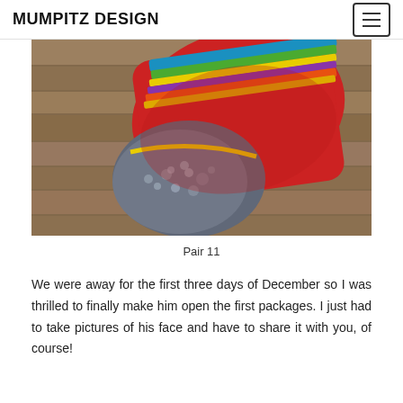MUMPITZ DESIGN
[Figure (photo): Close-up photograph of a knitted sock with colorful striped cuff (red, yellow, green, blue, purple) and grey/white textured heel/toe section, resting on wooden boards background.]
Pair 11
We were away for the first three days of December so I was thrilled to finally make him open the first packages. I just had to take pictures of his face and have to share it with you, of course!